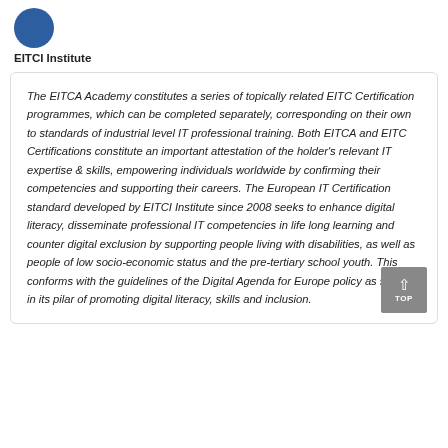[Figure (logo): Blue circle logo for EITCI Institute]
EITCI Institute
The EITCA Academy constitutes a series of topically related EITC Certification programmes, which can be completed separately, corresponding on their own to standards of industrial level IT professional training. Both EITCA and EITC Certifications constitute an important attestation of the holder's relevant IT expertise & skills, empowering individuals worldwide by confirming their competencies and supporting their careers. The European IT Certification standard developed by EITCI Institute since 2008 seeks to enhance digital literacy, disseminate professional IT competencies in life long learning and counter digital exclusion by supporting people living with disabilities, as well as people of low socio-economic status and the pre-tertiary school youth. This conforms with the guidelines of the Digital Agenda for Europe policy as set out in its pilar of promoting digital literacy, skills and inclusion.